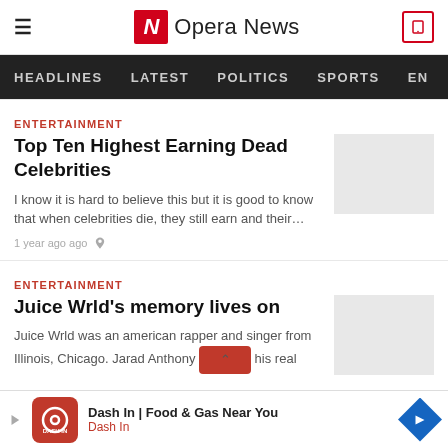Opera News
HEADLINES  LATEST  POLITICS  SPORTS  EN
ENTERTAINMENT
Top Ten Highest Earning Dead Celebrities
I know it is hard to believe this but it is good to know that when celebrities die, they still earn and their…
1 year ago ago
ENTERTAINMENT
Juice Wrld's memory lives on
Juice Wrld was an american rapper and singer from Illinois, Chicago. Jarad Anthony … his real
Dash In | Food & Gas Near You
Dash In